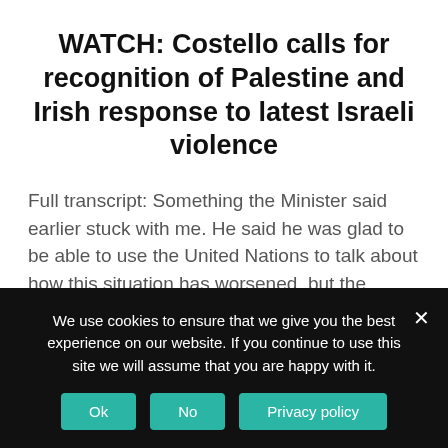WATCH: Costello calls for recognition of Palestine and Irish response to latest Israeli violence
Full transcript: Something the Minister said earlier stuck with me. He said he was glad to be able to use the United Nations to talk about how this situation has worsened, but the reality is what we are seeing is not new. It has been going on for a long time. I was in Palestine...
READ MORE
We use cookies to ensure that we give you the best experience on our website. If you continue to use this site we will assume that you are happy with it.
Ok
No
Privacy policy